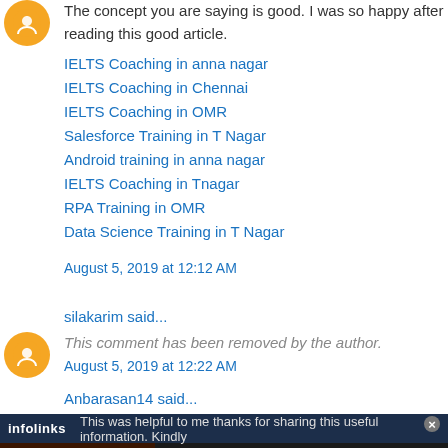The concept you are saying is good. I was so happy after reading this good article.
IELTS Coaching in anna nagar
IELTS Coaching in Chennai
IELTS Coaching in OMR
Salesforce Training in T Nagar
Android training in anna nagar
IELTS Coaching in Tnagar
RPA Training in OMR
Data Science Training in T Nagar
August 5, 2019 at 12:12 AM
silakarim said...
This comment has been removed by the author. August 5, 2019 at 12:22 AM
Anbarasan14 said...
This was helpful to me thanks for sharing this useful information. Kindly
[Figure (infographic): Infolinks advertisement bar and Seamless food delivery banner ad with pizza image and ORDER NOW button]